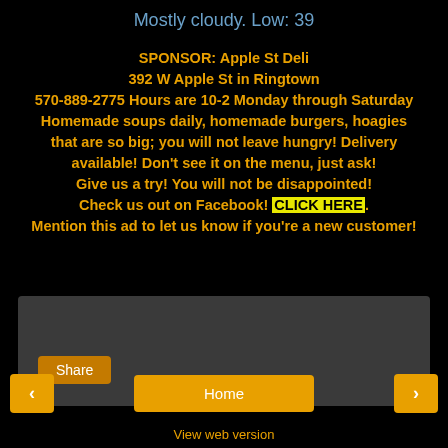Mostly cloudy. Low: 39
SPONSOR: Apple St Deli 392 W Apple St in Ringtown 570-889-2775 Hours are 10-2 Monday through Saturday Homemade soups daily, homemade burgers, hoagies that are so big; you will not leave hungry! Delivery available! Don't see it on the menu, just ask! Give us a try! You will not be disappointed! Check us out on Facebook! CLICK HERE. Mention this ad to let us know if you're a new customer!
[Figure (screenshot): Facebook share panel with dark gray background and Share button]
View web version